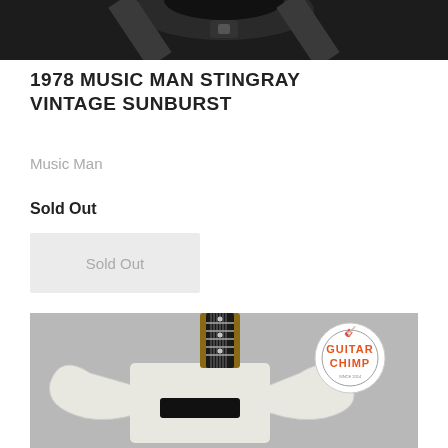[Figure (photo): Partial top view of a guitar case or guitar body in black, cropped at the top of the page]
1978 MUSIC MAN STINGRAY VINTAGE SUNBURST
Music Man
Sold Out
Sold Out
[Figure (photo): White electric guitar (SG-style body) with dark fretboard, shown from front angle on gray background, with Guitar Chimp logo watermark in upper right corner]